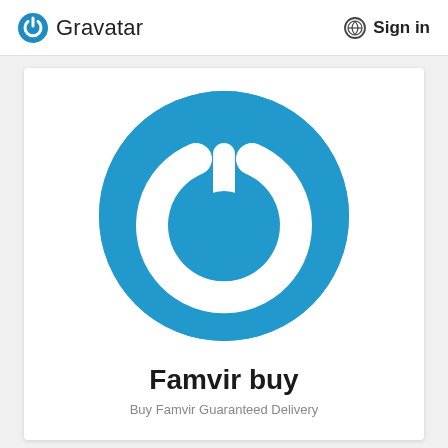Gravatar   Sign in
[Figure (logo): Gravatar power-button logo: large blue circle with white 3D power symbol icon in center]
Famvir buy
Buy Famvir Guaranteed Delivery